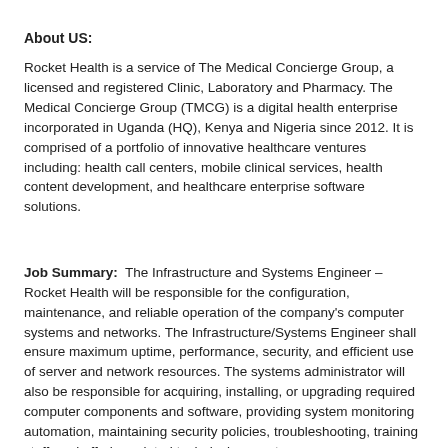About US:
Rocket Health is a service of The Medical Concierge Group, a licensed and registered Clinic, Laboratory and Pharmacy. The Medical Concierge Group (TMCG) is a digital health enterprise incorporated in Uganda (HQ), Kenya and Nigeria since 2012. It is comprised of a portfolio of innovative healthcare ventures including: health call centers, mobile clinical services, health content development, and healthcare enterprise software solutions.
Job Summary:  The Infrastructure and Systems Engineer – Rocket Health will be responsible for the configuration, maintenance, and reliable operation of the company's computer systems and networks. The Infrastructure/Systems Engineer shall ensure maximum uptime, performance, security, and efficient use of server and network resources. The systems administrator will also be responsible for acquiring, installing, or upgrading required computer components and software, providing system monitoring automation, maintaining security policies, troubleshooting, training staff, and offering related technical support.